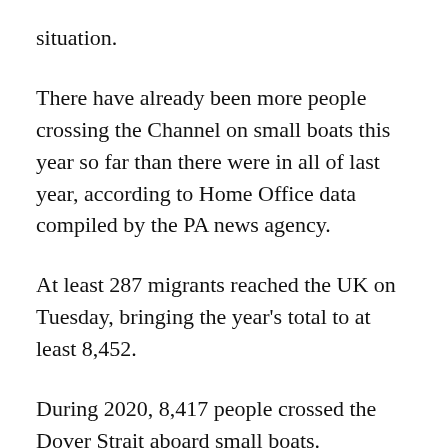situation.
There have already been more people crossing the Channel on small boats this year so far than there were in all of last year, according to Home Office data compiled by the PA news agency.
At least 287 migrants reached the UK on Tuesday, bringing the year's total to at least 8,452.
During 2020, 8,417 people crossed the Dover Strait aboard small boats.
On Monday, at least 430 people arrived by small boat in the UK, a new record for a single day.
Tim Naor Hilton, chief executive at Refugee Action, said